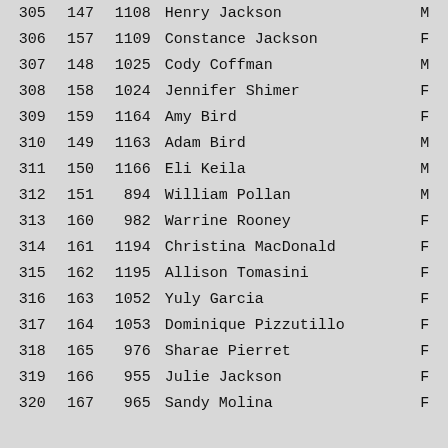| Rank | Place | Bib | Name | Gender |
| --- | --- | --- | --- | --- |
| 305 | 147 | 1108 | Henry Jackson | M |
| 306 | 157 | 1109 | Constance Jackson | F |
| 307 | 148 | 1025 | Cody Coffman | M |
| 308 | 158 | 1024 | Jennifer Shimer | F |
| 309 | 159 | 1164 | Amy Bird | F |
| 310 | 149 | 1163 | Adam Bird | M |
| 311 | 150 | 1166 | Eli Keila | M |
| 312 | 151 | 894 | William Pollan | M |
| 313 | 160 | 982 | Warrine Rooney | F |
| 314 | 161 | 1194 | Christina MacDonald | F |
| 315 | 162 | 1195 | Allison Tomasini | F |
| 316 | 163 | 1052 | Yuly Garcia | F |
| 317 | 164 | 1053 | Dominique Pizzutillo | F |
| 318 | 165 | 976 | Sharae Pierret | F |
| 319 | 166 | 955 | Julie Jackson | F |
| 320 | 167 | 965 | Sandy Molina | F |